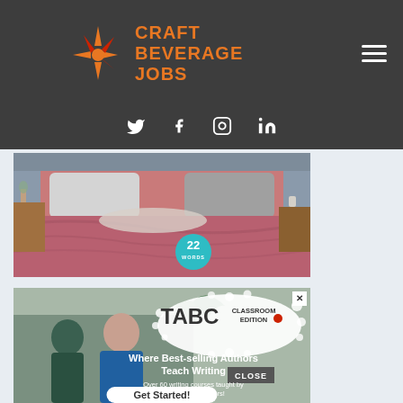[Figure (logo): Craft Beverage Jobs logo with starburst icon and orange text on dark gray header, plus hamburger menu icon and social media icons (Twitter, Facebook, Instagram, LinkedIn)]
[Figure (photo): A bed with pink/mauve duvet and pillows in a bedroom setting, with a teal circle badge showing '22 WORDS']
[Figure (screenshot): TABC Classroom Edition advertisement showing children writing, with text 'Where Best-selling Authors Teach Writing', 'Over 60 writing courses taught by professional authors!', a 'Get Started!' button, and a 'CLOSE' button]